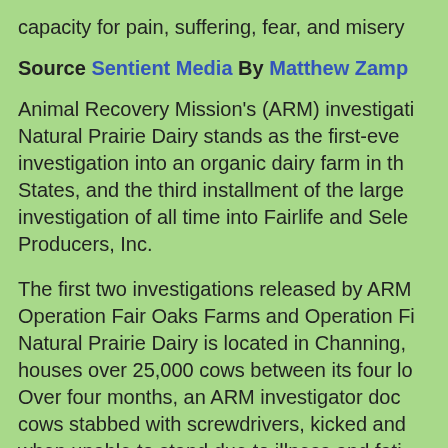capacity for pain, suffering, fear, and misery
Source Sentient Media By Matthew Zamp
Animal Recovery Mission's (ARM) investigation into Natural Prairie Dairy stands as the first-ever investigation into an organic dairy farm in the United States, and the third installment of the largest investigation of all time into Fairlife and Select Producers, Inc.
The first two investigations released by ARM were Operation Fair Oaks Farms and Operation F... Natural Prairie Dairy is located in Channing, and houses over 25,000 cows between its four locations. Over four months, an ARM investigator documented cows stabbed with screwdrivers, kicked and beaten when unable to stand due to illness and fatigue.